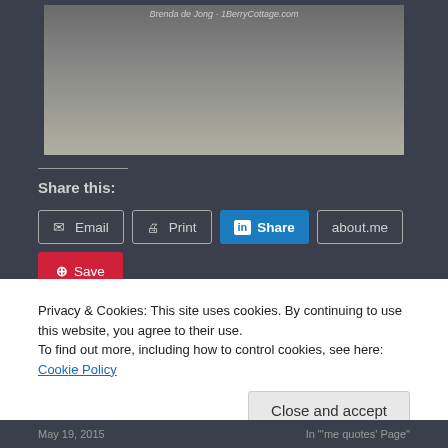[Figure (photo): Partial view of sneakers/shoes on a floor, with watermark text 'Brenda de Jong - 1BerryCottage.com']
Share this:
Email  Print  Share  about.me  Save
Privacy & Cookies: This site uses cookies. By continuing to use this website, you agree to their use.
To find out more, including how to control cookies, see here: Cookie Policy
Close and accept
May 19, 2015
In "'me quotes' Page"